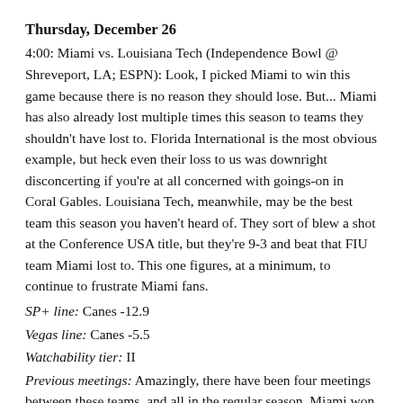Thursday, December 26
4:00: Miami vs. Louisiana Tech (Independence Bowl @ Shreveport, LA; ESPN): Look, I picked Miami to win this game because there is no reason they should lose. But... Miami has also already lost multiple times this season to teams they shouldn't have lost to. Florida International is the most obvious example, but heck even their loss to us was downright disconcerting if you're at all concerned with goings-on in Coral Gables. Louisiana Tech, meanwhile, may be the best team this season you haven't heard of. They sort of blew a shot at the Conference USA title, but they're 9-3 and beat that FIU team Miami lost to. This one figures, at a minimum, to continue to frustrate Miami fans.
SP+ line: Canes -12.9
Vegas line: Canes -5.5
Watchability tier: II
Previous meetings: Amazingly, there have been four meetings between these teams, and all in the regular season. Miami won the first one in 1979, a 6-0 win, and then blowouts in